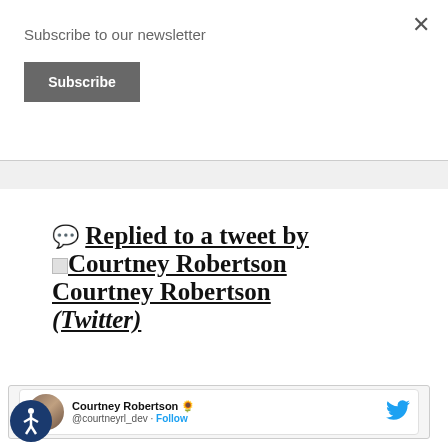Subscribe to our newsletter
Subscribe
× (close button)
💬 Replied to a tweet by Courtney Robertson Courtney Robertson (Twitter)
[Figure (screenshot): Tweet card showing Courtney Robertson 🌻 @courtneyr_dev · Follow, with Twitter bird icon]
[Figure (logo): Accessibility icon — circular dark blue badge with wheelchair person symbol]